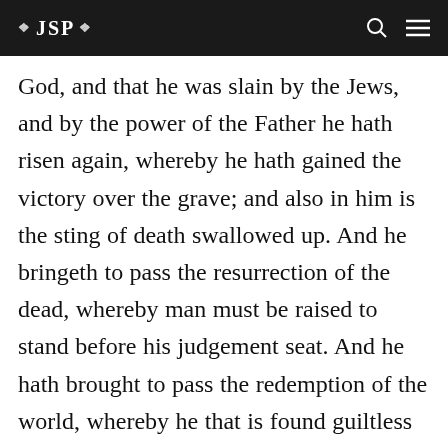❖ JSP ❖
God, and that he was slain by the Jews, and by the power of the Father he hath risen again, whereby he hath gained the victory over the grave; and also in him is the sting of death swallowed up. And he bringeth to pass the resurrection of the dead, whereby man must be raised to stand before his judgement seat. And he hath brought to pass the redemption of the world, whereby he that is found guiltless before him at the judgement day, hath it given unto them to dwell in the presence of God in his kingdom, to sing ceaseless praises with the choirs above, unto the Father, and unto the Son, and unto the Holy Ghost, which is one God, in a state of happiness which hath no end. Therefore repent, and be baptized in the name of Jesus, and